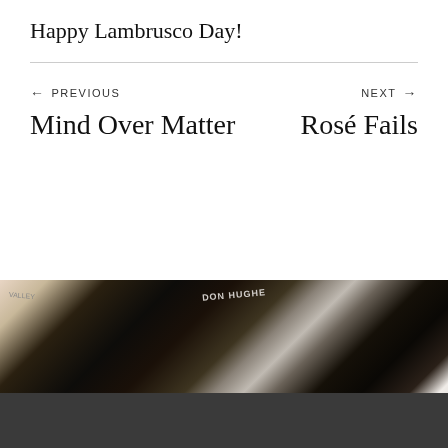Happy Lambrusco Day!
← PREVIOUS
Mind Over Matter
NEXT→
Rosé Fails
[Figure (photo): Close-up photo of wine bottles on a dark surface, including bottles with partially visible labels including 'DON HUGHES' and others]